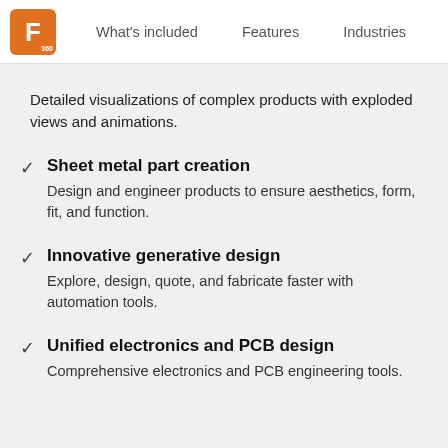F 360 | What's included | Features | Industries
Detailed visualizations of complex products with exploded views and animations.
Sheet metal part creation
Design and engineer products to ensure aesthetics, form, fit, and function.
Innovative generative design
Explore, design, quote, and fabricate faster with automation tools.
Unified electronics and PCB design
Comprehensive electronics and PCB engineering tools.